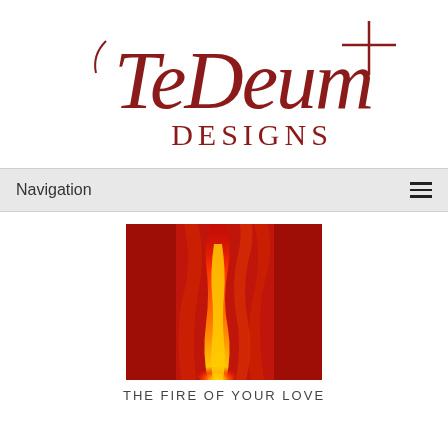[Figure (logo): Te Deum Designs logo with stylized script lettering and a cross symbol, dark red/maroon color]
Navigation
[Figure (photo): Close-up photo of stylized flame on red background showing orange and yellow flame shapes]
THE FIRE OF YOUR LOVE